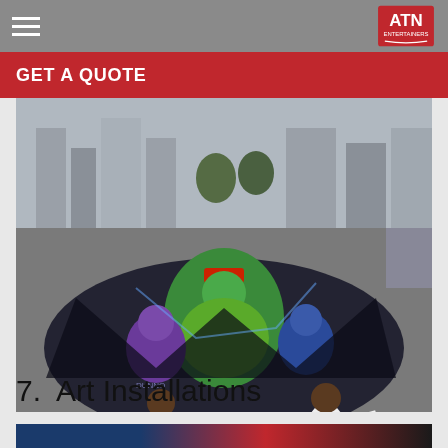GET A QUOTE
[Figure (photo): Two people in white shirts posing on a large 3D chalk art installation depicting Teenage Mutant Ninja Turtles on a city plaza sidewalk]
7.  Art Installations
[Figure (photo): Partial view of another art installation with blue and red lighting elements]